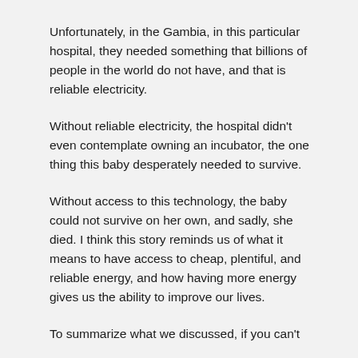Unfortunately, in the Gambia, in this particular hospital, they needed something that billions of people in the world do not have, and that is reliable electricity.
Without reliable electricity, the hospital didn't even contemplate owning an incubator, the one thing this baby desperately needed to survive.
Without access to this technology, the baby could not survive on her own, and sadly, she died. I think this story reminds us of what it means to have access to cheap, plentiful, and reliable energy, and how having more energy gives us the ability to improve our lives.
To summarize what we discussed, if you can't